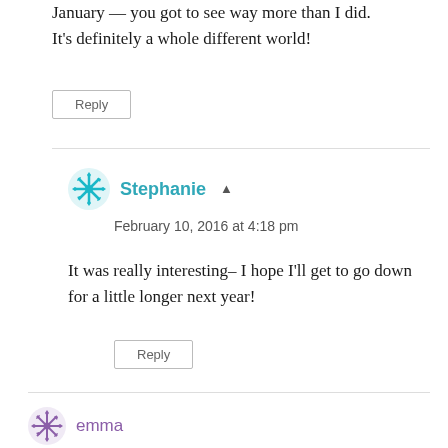January — you got to see way more than I did. It's definitely a whole different world!
Reply
Stephanie
February 10, 2016 at 4:18 pm
It was really interesting– I hope I'll get to go down for a little longer next year!
Reply
emma